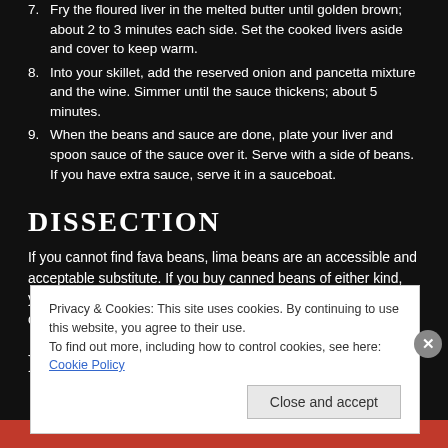7. Fry the floured liver in the melted butter until golden brown; about 2 to 3 minutes each side. Set the cooked livers aside and cover to keep warm.
8. Into your skillet, add the reserved onion and pancetta mixture and the wine. Simmer until the sauce thickens; about 5 minutes.
9. When the beans and sauce are done, plate your liver and spoon sauce of the sauce over it. Serve with a side of beans. If you have extra sauce, serve it in a sauceboat.
DISSECTION
If you cannot find fava beans, lima beans are an accessible and acceptable substitute. If you buy canned beans of either kind, you should still simmer them just as long, just don't stir too often, or you'll have refried beans.
POST-MORTEM
Privacy & Cookies: This site uses cookies. By continuing to use this website, you agree to their use.
To find out more, including how to control cookies, see here: Cookie Policy